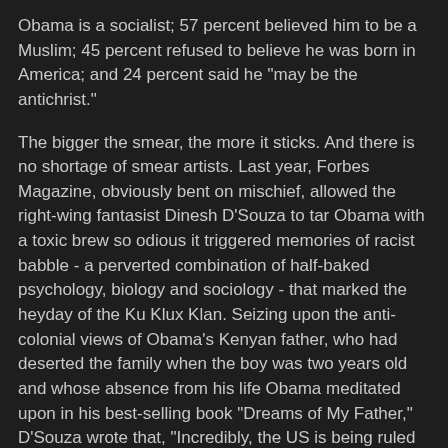Obama is a socialist; 57 percent believed him to be a Muslim; 45 percent refused to believe he was born in America; and 24 percent said he "may be the antichrist."
The bigger the smear, the more it sticks. And there is no shortage of smear artists. Last year, Forbes Magazine, obviously bent on mischief, allowed the right-wing fantasist Dinesh D'Souza to tar Obama with a toxic brew so odious it triggered memories of racist babble - a perverted combination of half-baked psychology, biology and sociology - that marked the heyday of the Ku Klux Klan. Seizing upon the anti-colonial views of Obama's Kenyan father, who had deserted the family when the boy was two years old and whose absence from his life Obama meditated upon in his best-selling book "Dreams of My Father," D'Souza wrote that, "Incredibly, the US is being ruled according to the dreams of a Luo tribesman of the 1950s. This philandering, inebriated African socialist, who raged against the world for denying him the realization of his anticolonial ambitions, is now setting the nation's agenda through the reincarnation of his dreams in his son."